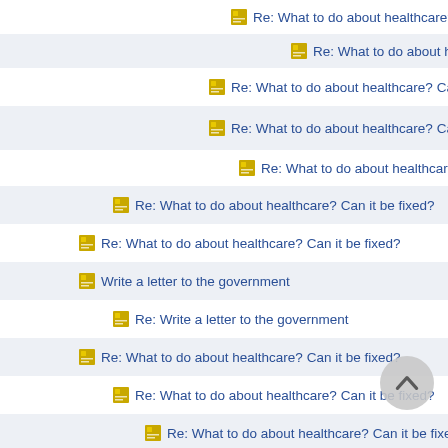Re: What to do about healthcare? Can it be fixed?
Re: What to do about healthcare? Can it be fixed?
Re: What to do about healthcare? Can it be fixed?
Re: What to do about healthcare? Can it be fixed?
Re: What to do about healthcare? Can it be fixed?
Re: What to do about healthcare? Can it be fixed?
Re: What to do about healthcare? Can it be fixed?
Write a letter to the government
Re: Write a letter to the government
Re: What to do about healthcare? Can it be fixed?
Re: What to do about healthcare? Can it be fixed?
Re: What to do about healthcare? Can it be fixed?
Re: What to do about healthcare? Can it be fixed?
Re: What to do about healthcare? Can it be fixed?